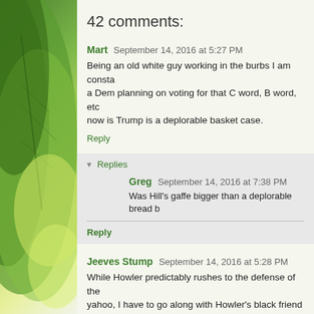42 comments:
Mart September 14, 2016 at 5:27 PM
Being an old white guy working in the burbs I am consta a Dem planning on voting for that C word, B word, etc now is Trump is a deplorable basket case.
Reply
Replies
Greg September 14, 2016 at 7:38 PM
Was Hill's gaffe bigger than a deplorable bread b
Reply
Jeeves Stump September 14, 2016 at 5:28 PM
While Howler predictably rushes to the defense of the yahoo, I have to go along with Howler's black friend Ta this... The... Hillary... black... description...